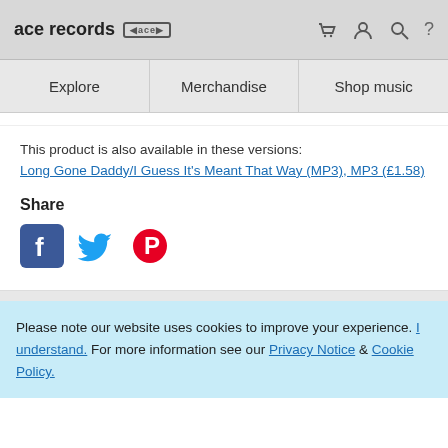ace records [logo] [cart] [user] [search] [?]
Explore | Merchandise | Shop music
This product is also available in these versions: Long Gone Daddy/I Guess It's Meant That Way (MP3), MP3 (£1.58)
Share
[Figure (other): Social media share icons: Facebook (blue), Twitter (blue bird), Pinterest (red)]
Please note our website uses cookies to improve your experience. I understand. For more information see our Privacy Notice & Cookie Policy.